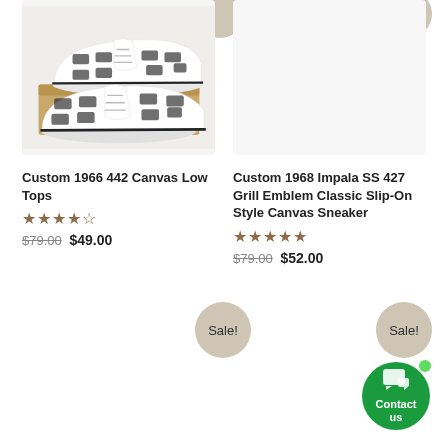[Figure (photo): White canvas low-top sneakers with black classic car pattern printed on them, shown on top of a tan cardboard shoe box]
Custom 1966 442 Canvas Low Tops
★★★★½ $79.00 $49.00
[Figure (photo): Product image area for Custom 1968 Impala SS 427 Grill Emblem Classic Slip-On Style Canvas Sneaker (image not loaded)]
Custom 1968 Impala SS 427 Grill Emblem Classic Slip-On Style Canvas Sneaker
★★★★★ $79.00 $52.00